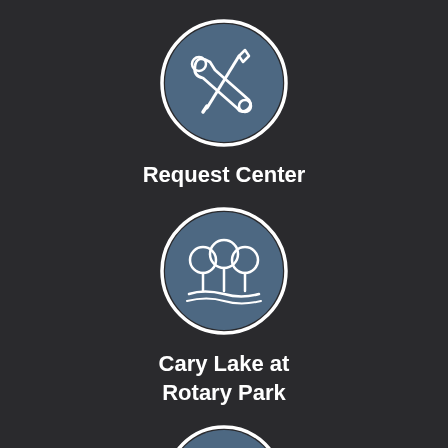[Figure (illustration): Blue circle with white screwdriver and wrench crossed icon — Request Center]
Request Center
[Figure (illustration): Blue circle with white trees and landscape icon — Cary Lake at Rotary Park]
Cary Lake at
Rotary Park
[Figure (illustration): Blue circle with white documents and magnifying glass icon]